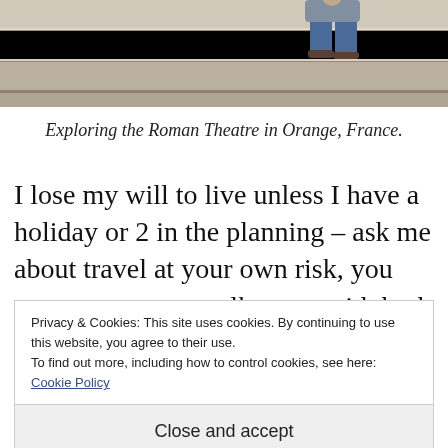[Figure (photo): A person sitting on ancient Roman stone steps, viewed from below. The image shows worn stone steps with tan/beige tones. The person is wearing jeans and is seated on one of the upper steps.]
Exploring the Roman Theatre in Orange, France.
I lose my will to live unless I have a holiday or 2 in the planning – ask me about travel at your own risk, you may or may not walk away with both ears still in tact!
Privacy & Cookies: This site uses cookies. By continuing to use this website, you agree to their use.
To find out more, including how to control cookies, see here: Cookie Policy
Close and accept